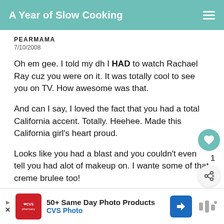A Year of Slow Cooking
PEARMAMA
7/10/2008
Oh em gee. I told my dh I HAD to watch Rachael Ray cuz you were on it. It was totally cool to see you on TV. How awesome was that.

And can I say, I loved the fact that you had a total California accent. Totally. Heehee. Made this California girl's heart proud.

Looks like you had a blast and you couldn't even tell you had alot of makeup on. I wante some of that creme brulee too!
1
[Figure (infographic): WHAT'S NEXT arrow with thumbnail image and text 'Bananas Foster...']
DELETE
[Figure (infographic): Advertisement banner: CVS Photo - 50+ Same Day Photo Products]